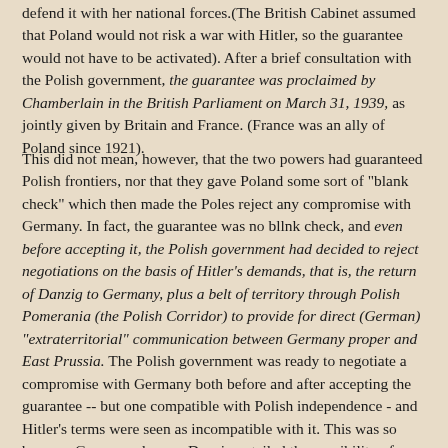defend it with her national forces.(The British Cabinet assumed that Poland would not risk a war with Hitler, so the guarantee would not have to be activated). After a brief consultation with the Polish government, the guarantee was proclaimed by Chamberlain in the British Parliament on March 31, 1939, as jointly given by Britain and France. (France was an ally of Poland since 1921).
This did not mean, however, that the two powers had guaranteed Polish frontiers, nor that they gave Poland some sort of "blank check" which then made the Poles reject any compromise with Germany. In fact, the guarantee was no bllnk check, and even before accepting it, the Polish government had decided to reject negotiations on the basis of Hitler's demands, that is, the return of Danzig to Germany, plus a belt of territory through Polish Pomerania (the Polish Corridor) to provide for direct (German) "extraterritorial" communication between Germany proper and East Prussia. The Polish government was ready to negotiate a compromise with Germany both before and after accepting the guarantee -- but one compatible with Polish independence - and Hitler's terms were seen as incompatible with it. This was so because German rule over Danzig entailed the possibility of long-range artillery being staioned there, which could threaten the Polish port of Gdynia. Also, this port - which together with Danzig handled 78% of Polish foreign trade in 1938 - could be cut off